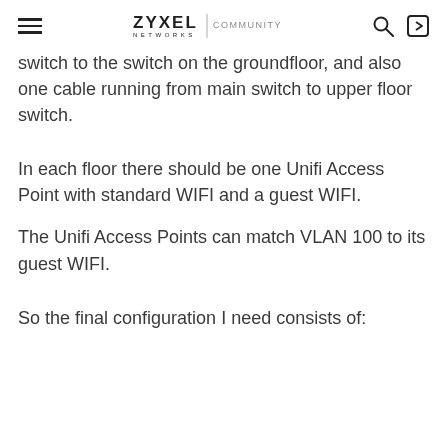ZYXEL NETWORKS | COMMUNITY
switch to the switch on the groundfloor, and also one cable running from main switch to upper floor switch.
In each floor there should be one Unifi Access Point with standard WIFI and a guest WIFI.
The Unifi Access Points can match VLAN 100 to its guest WIFI.
So the final configuration I need consists of: